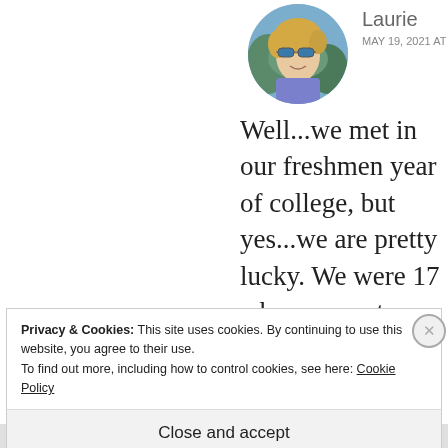[Figure (photo): Circular avatar photo of a woman with blonde hair and sunglasses outdoors with mountains/trees in background]
Laurie
MAY 19, 2021 AT 9:29 AM
Well...we met in our freshmen year of college, but yes...we are pretty lucky. We were 17 when we met.
★ Liked by 1 person
REPLY
Privacy & Cookies: This site uses cookies. By continuing to use this website, you agree to their use.
To find out more, including how to control cookies, see here: Cookie Policy
Close and accept